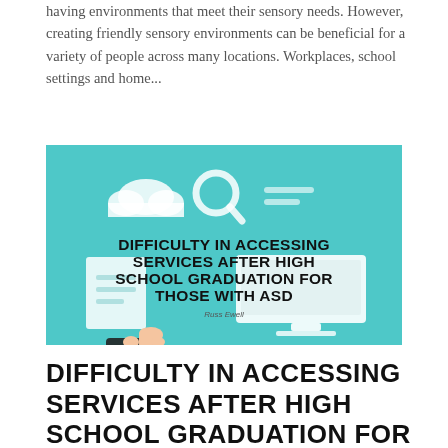having environments that meet their sensory needs. However, creating friendly sensory environments can be beneficial for a variety of people across many locations. Workplaces, school settings and home...
[Figure (illustration): Infographic image with teal background showing a hand pointing at a computer screen with cloud and search icons, text reads: DIFFICULTY IN ACCESSING SERVICES AFTER HIGH SCHOOL GRADUATION FOR THOSE WITH ASD, attributed to Russ Ewell]
DIFFICULTY IN ACCESSING SERVICES AFTER HIGH SCHOOL GRADUATION FOR THOSE WITH ASD